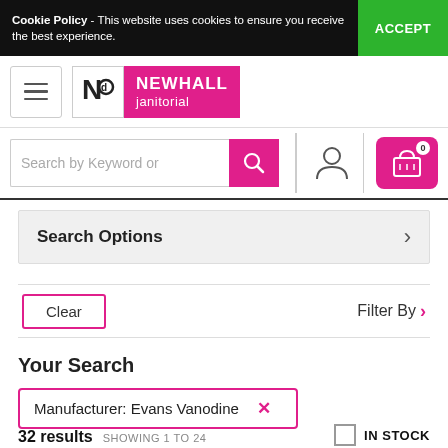Cookie Policy - This website uses cookies to ensure you receive the best experience.
ACCEPT
[Figure (logo): Newhall Janitorial logo with pink background and hamburger menu icon]
Search by Keyword or
Search Options
Clear
Filter By
Your Search
Manufacturer: Evans Vanodine
32 results  SHOWING 1 TO 24
IN STOCK